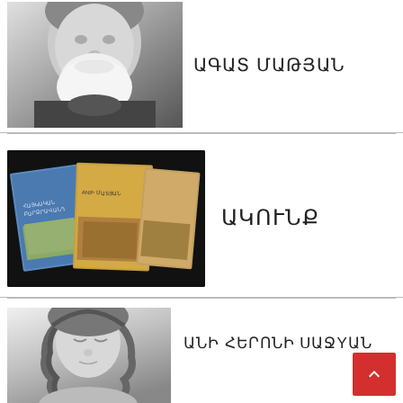[Figure (photo): Black and white photo of an elderly man with a white beard, cropped to show face and upper portion]
ԱԳԱՏ ՄԱԹՅԱՆ
[Figure (photo): Color photo of three Armenian books/pamphlets with images of historical ruins/monuments on dark background]
ԱԿՈՒՆՔ
[Figure (photo): Black and white photo of a young woman with long curly hair, eyes closed, looking downward]
ԱՆԻ ՀԵՐՈՆԻ ՍԱՋՅԱՆ